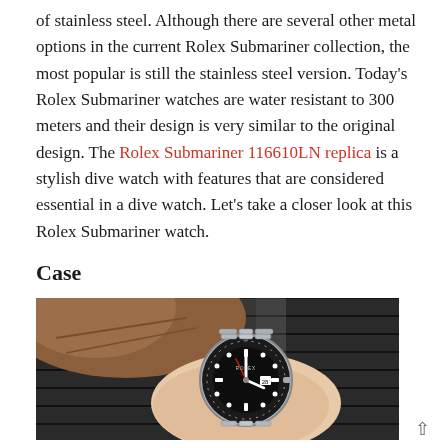of stainless steel. Although there are several other metal options in the current Rolex Submariner collection, the most popular is still the stainless steel version. Today's Rolex Submariner watches are water resistant to 300 meters and their design is very similar to the original design. The Rolex Submariner 116610LN replica is a stylish dive watch with features that are considered essential in a dive watch. Let's take a closer look at this Rolex Submariner watch.
Case
[Figure (photo): A Rolex Submariner watch on a wrist, with black bezel and dial, silver stainless steel bracelet, against a dark background with a brown leather glove/jacket visible.]